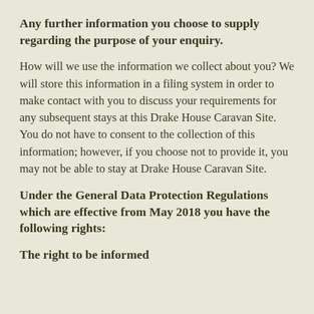Any further information you choose to supply regarding the purpose of your enquiry.
How will we use the information we collect about you? We will store this information in a filing system in order to make contact with you to discuss your requirements for any subsequent stays at this Drake House Caravan Site. You do not have to consent to the collection of this information; however, if you choose not to provide it, you may not be able to stay at Drake House Caravan Site.
Under the General Data Protection Regulations which are effective from May 2018 you have the following rights:
The right to be informed